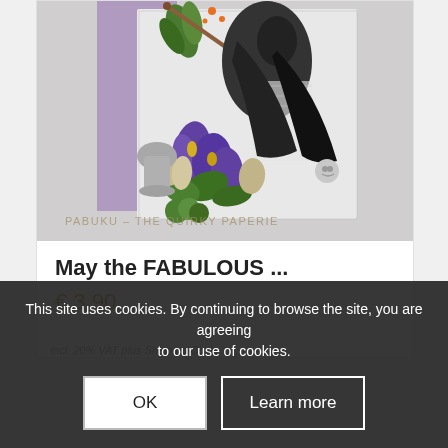[Figure (illustration): Product image showing an artistic collage illustration - a decorative card with botanical flowers (purple iris/bellflowers, green leaves), a bird/toucan figure, a walking cane, skulls, and vintage engraving style black and white elements on a purple and grey background. Watermark text 'PABUKU - THE QUIRKY PAPERIE' overlaid on the image.]
PABUKU – THE QUIRKY PAPERIE
May the FABULOUS ...
€ 3,90
Incl. 20% VAT plus Shipping Costs
This site uses cookies. By continuing to browse the site, you are agreeing to our use of cookies.
OK
Learn more